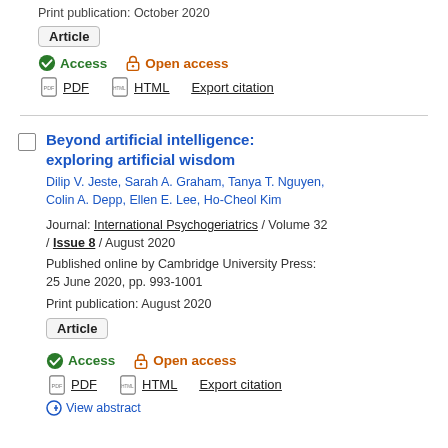Print publication: October 2020
Article
Access   Open access
PDF   HTML   Export citation
Beyond artificial intelligence: exploring artificial wisdom
Dilip V. Jeste, Sarah A. Graham, Tanya T. Nguyen, Colin A. Depp, Ellen E. Lee, Ho-Cheol Kim
Journal: International Psychogeriatrics / Volume 32 / Issue 8 / August 2020
Published online by Cambridge University Press: 25 June 2020, pp. 993-1001
Print publication: August 2020
Article
Access   Open access
PDF   HTML   Export citation
View abstract